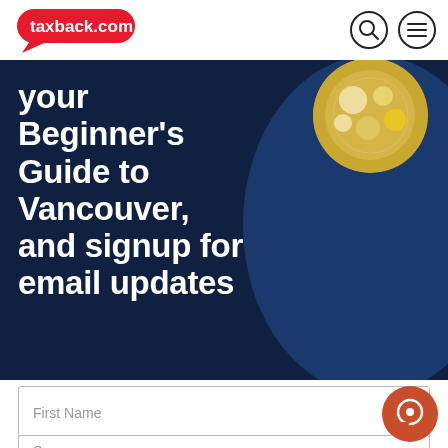[Figure (logo): taxback.com logo — red pill-shaped badge with white text and small arrow/tail, top left]
[Figure (other): Search icon (magnifying glass circle) and menu/hamburger icon (three lines circle), top right navigation]
your Beginner's Guide to Vancouver, and signup for email updates
[Figure (photo): Circular photo of Vancouver scenery (flowers/coins/colourful scene) partially visible top right, on dark navy background with decorative dark blue ellipse]
First Name
Surname
[Figure (other): Orange/red circular chat or WhatsApp button icon, bottom right]